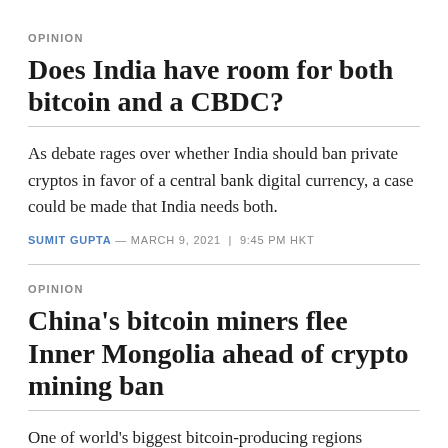OPINION
Does India have room for both bitcoin and a CBDC?
As debate rages over whether India should ban private cryptos in favor of a central bank digital currency, a case could be made that India needs both.
SUMIT GUPTA — MARCH 9, 2021 | 9:45 PM HKT
OPINION
China's bitcoin miners flee Inner Mongolia ahead of crypto mining ban
One of world's biggest bitcoin-producing regions